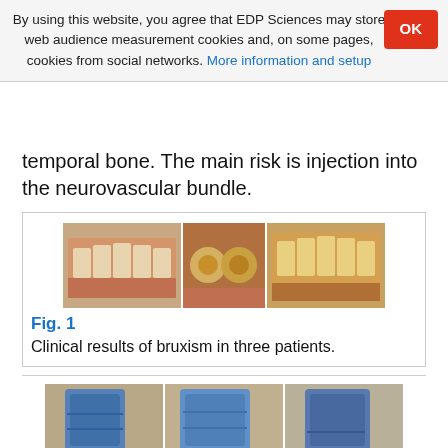By using this website, you agree that EDP Sciences may store web audience measurement cookies and, on some pages, cookies from social networks. More information and setup
temporal bone. The main risk is injection into the neurovascular bundle.
[Figure (photo): Three clinical photos of teeth showing bruxism results in three patients]
Fig. 1
Clinical results of bruxism in three patients.
[Figure (photo): Three clinical photos showing hands with blue gloves performing a medical procedure]